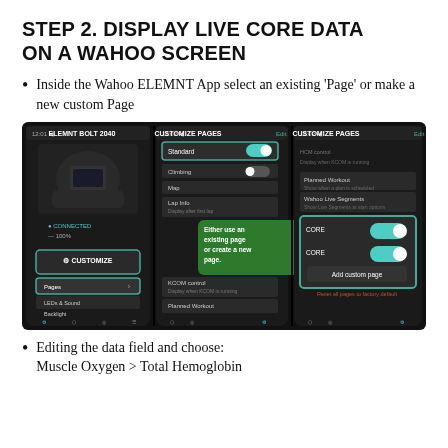STEP 2. DISPLAY LIVE CORE DATA ON A WAHOO SCREEN
Inside the Wahoo ELEMNT App select an existing 'Page' or make a new custom Page
[Figure (screenshot): Three smartphone screenshots showing the Wahoo ELEMNT app with ELEMNT BOLT 2040 device, Customize Pages screen with toggle options, and Customize Pages with CORE toggle and Add custom page button. A green callout reads 'Either use an existing page or create a new page'.]
Editing the data field and choose: Muscle Oxygen > Total Hemoglobin